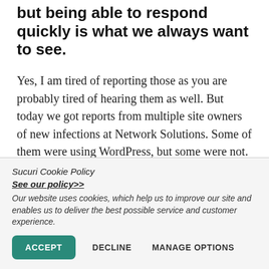but being able to respond quickly is what we always want to see.
Yes, I am tired of reporting those as you are probably tired of hearing them as well. But today we got reports from multiple site owners of new infections at Network Solutions. Some of them were using WordPress, but some were not. So nobody can blame WordPress this time.
In fact, we just finished fixing a few of these sites
Sucuri Cookie Policy
See our policy>>
Our website uses cookies, which help us to improve our site and enables us to deliver the best possible service and customer experience.